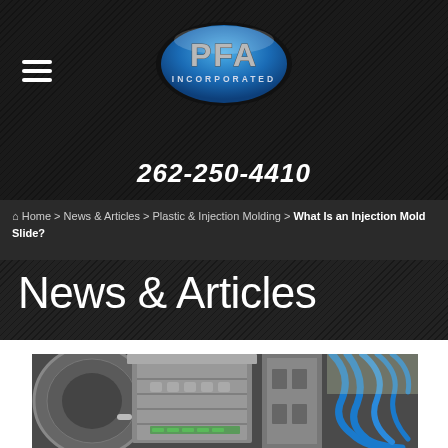[Figure (logo): PFA Incorporated oval blue logo with silver text]
262-250-4410
Home > News & Articles > Plastic & Injection Molding > What Is an Injection Mold Slide?
News & Articles
[Figure (photo): Industrial injection molding machine close-up showing metal mold components, clamps, and blue hoses/cables in a manufacturing facility]